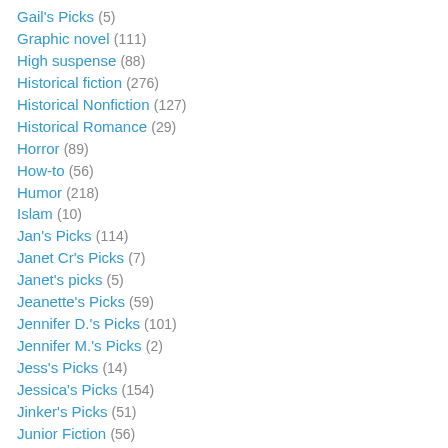Gail's Picks (5)
Graphic novel (111)
High suspense (88)
Historical fiction (276)
Historical Nonfiction (127)
Historical Romance (29)
Horror (89)
How-to (56)
Humor (218)
Islam (10)
Jan's Picks (114)
Janet Cr's Picks (7)
Janet's picks (5)
Jeanette's Picks (59)
Jennifer D.'s Picks (101)
Jennifer M.'s Picks (2)
Jess's Picks (14)
Jessica's Picks (154)
Jinker's Picks (51)
Junior Fiction (56)